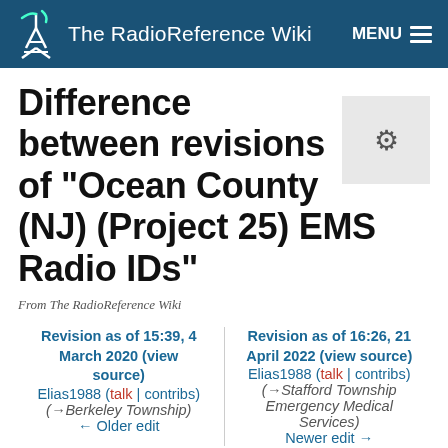The RadioReference Wiki
Difference between revisions of "Ocean County (NJ) (Project 25) EMS Radio IDs"
From The RadioReference Wiki
Revision as of 15:39, 4 March 2020 (view source)
Elias1988 (talk | contribs)
(→Berkeley Township)
← Older edit
Revision as of 16:26, 21 April 2022 (view source)
Elias1988 (talk | contribs)
(→Stafford Township Emergency Medical Services)
Newer edit →
(130 intermediate revisions by the same user not